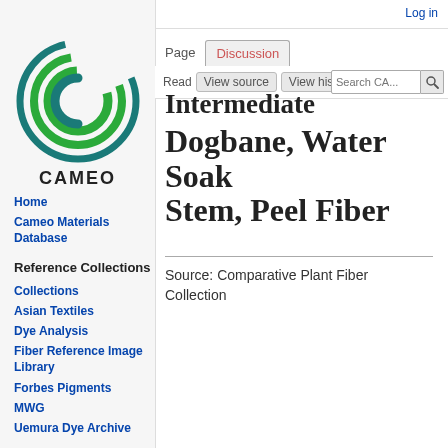Log in
[Figure (logo): CAMEO circular logo with green concentric C shapes and the text CAMEO below]
Home
Cameo Materials Database
Reference Collections
Collections
Asian Textiles
Dye Analysis
Fiber Reference Image Library
Forbes Pigments
MWG
Uemura Dye Archive
Intermediate Dogbane, Water Soak Stem, Peel Fiber
Source: Comparative Plant Fiber Collection